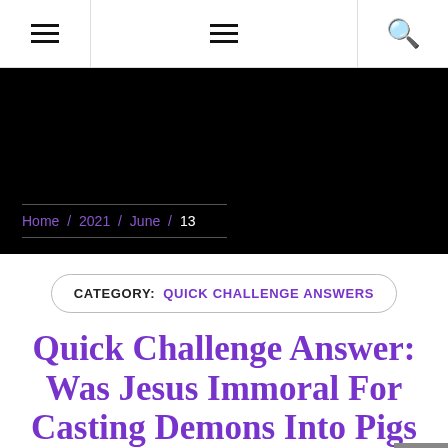Navigation bar with two hamburger menu icons and a search icon
Home / 2021 / June / 13
CATEGORY: QUICK CHALLENGE ANSWERS
Quick Challenge Answer: Was Jesus Immoral For Casting Demons Into Pigs In Mark 5?